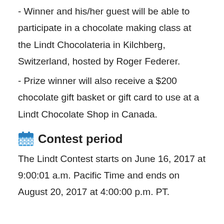- Winner and his/her guest will be able to participate in a chocolate making class at the Lindt Chocolateria in Kilchberg, Switzerland, hosted by Roger Federer.
- Prize winner will also receive a $200 chocolate gift basket or gift card to use at a Lindt Chocolate Shop in Canada.
Contest period
The Lindt Contest starts on June 16, 2017 at 9:00:01 a.m. Pacific Time and ends on August 20, 2017 at 4:00:00 p.m. PT.